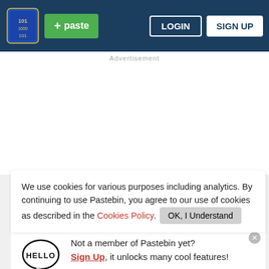paste | LOGIN | SIGN UP
Advertisement
We use cookies for various purposes including analytics. By continuing to use Pastebin, you agree to our use of cookies as described in the Cookies Policy. OK, I Understand
[Figure (illustration): HELLO speech bubble logo with Pastebin signup prompt. Text: Not a member of Pastebin yet? Sign Up, it unlocks many cool features!]
RAW Pa...
#incl
using
[Figure (logo): Petco logo in dark blue square]
[Figure (other): Blue diamond navigation icon with right arrow]